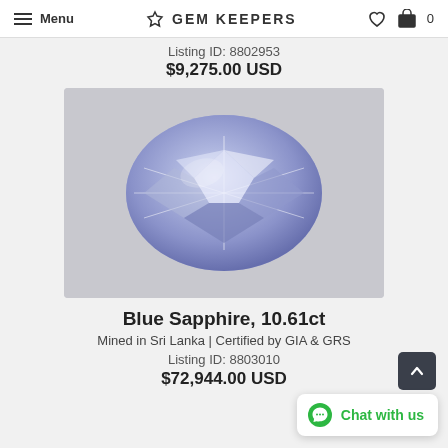Menu   GEM KEEPERS   ♡  🛒 0
Listing ID: 8802953
$9,275.00 USD
[Figure (photo): Oval-cut blue sapphire gemstone photographed on a light grey background, showing multi-faceted brilliant cut with blue-violet color and star-like reflection pattern.]
Blue Sapphire, 10.61ct
Mined in Sri Lanka | Certified by GIA & GRS
Listing ID: 8803010
$72,944.00 USD